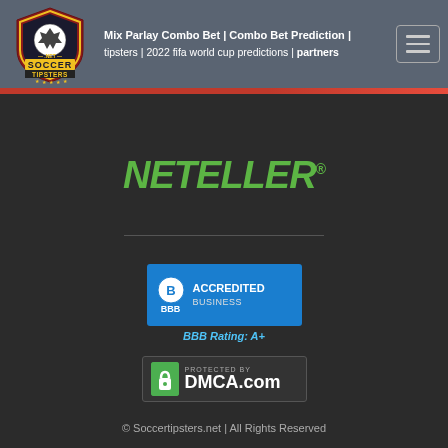Mix Parlay Combo Bet | Combo Bet Prediction | tipsters | 2022 fifa world cup predictions | partners
[Figure (logo): Soccer Tipsters .net shield logo with soccer ball]
[Figure (logo): NETELLER green italic logo with registered trademark symbol]
[Figure (logo): BBB Accredited Business badge with blue background, BBB Rating: A+]
[Figure (logo): DMCA.com Protected badge with green lock icon]
© Soccertipsters.net | All Rights Reserved